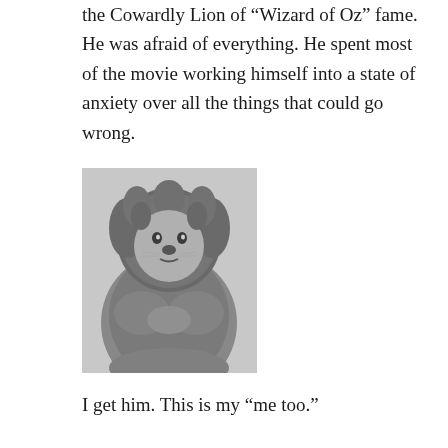the Cowardly Lion of “Wizard of Oz” fame. He was afraid of everything. He spent most of the movie working himself into a state of anxiety over all the things that could go wrong.
[Figure (photo): Black and white photograph of the Cowardly Lion character from The Wizard of Oz, in full lion costume, looking timid with paws clasped together.]
I get him. This is my “me too.”
Yesterday, I got a call that a family wanted me to come to the hospital to pray. The hospital is in Cleveland, some place I’d never been.